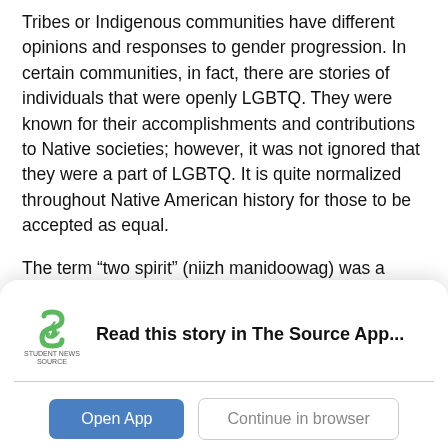Tribes or Indigenous communities have different opinions and responses to gender progression. In certain communities, in fact, there are stories of individuals that were openly LGBTQ. They were known for their accomplishments and contributions to Native societies; however, it was not ignored that they were a part of LGBTQ. It is quite normalized throughout Native American history for those to be accepted as equal.
The term “two spirit” (niizh manidoowag) was a commonly said piece of vocabulary that was adopted into colonizer language around 1990. It is a term that
[Figure (screenshot): App download banner for Student News Source app. Shows the Student News Source logo (green S with 'STUDENT NEWS SOURCE' text below), bold text reading 'Read this story in The Source App...', a horizontal divider, and two buttons: a blue 'Open App' button and a gray-outlined 'Continue in browser' button.]